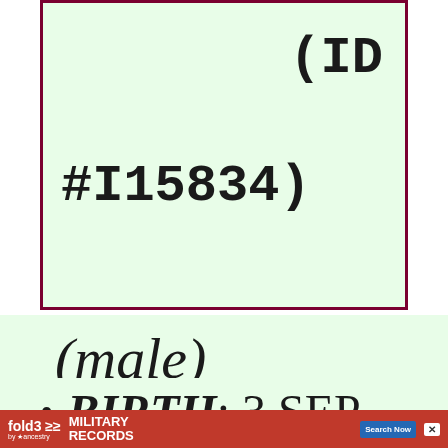(ID #I15834)
(male)
BIRTH: 3 SEP
[Figure (other): Fold3 by Ancestry advertisement banner for Military Records with Search Now button]